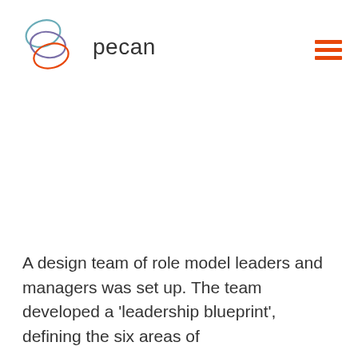[Figure (logo): Pecan logo: three overlapping ellipses (teal, purple, orange) with the word 'pecan' in dark grey sans-serif text to the right]
[Figure (other): Hamburger menu icon: three horizontal orange bars stacked vertically]
A design team of role model leaders and managers was set up.  The team developed a 'leadership blueprint', defining the six areas of